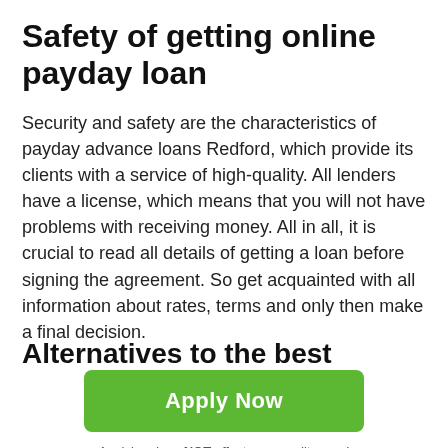Safety of getting online payday loan
Security and safety are the characteristics of payday advance loans Redford, which provide its clients with a service of high-quality. All lenders have a license, which means that you will not have problems with receiving money. All in all, it is crucial to read all details of getting a loan before signing the agreement. So get acquainted with all information about rates, terms and only then make a final decision.
Alternatives to the best payday loans
[Figure (other): Green 'Apply Now' button]
Applying does NOT affect your credit score! No credit check to apply.